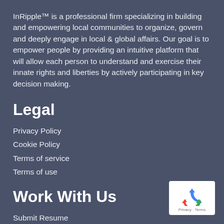InRipple™ is a professional firm specializing in building and empowering local communities to organize, govern and deeply engage in local & global affairs. Our goal is to empower people by providing an intuitive platform that will allow each person to understand and exercise their innate rights and liberties by actively participating in key decision making.
Legal
Privacy Policy
Cookie Policy
Terms of service
Terms of use
Work With Us
Submit Resume
InRipple™ Advantage
[Figure (logo): Google reCAPTCHA badge with recycling-arrow logo icon and Privacy - Terms text]